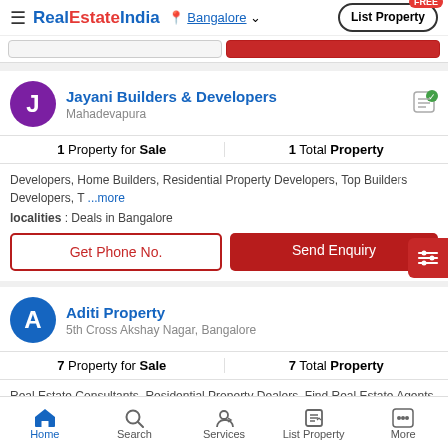RealEstateIndia — Bangalore — List Property FREE
Jayani Builders & Developers, Mahadevapura
1 Property for Sale | 1 Total Property
Developers, Home Builders, Residential Property Developers, Top Builders Developers, T ...more
localities : Deals in Bangalore
Get Phone No. | Send Enquiry
Aditi Property, 5th Cross Akshay Nagar, Bangalore
7 Property for Sale | 7 Total Property
Real Estate Consultants, Residential Property Dealers, Find Real Estate Agents, Top Real E ...more
Home | Search | Services | List Property | More